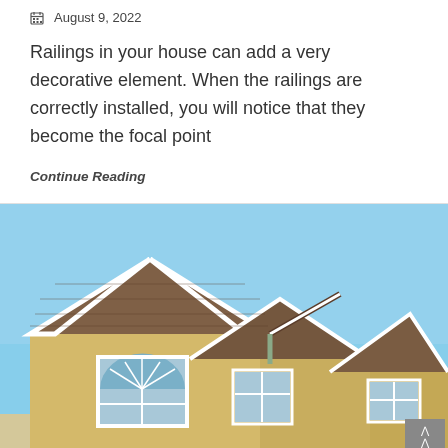August 9, 2022
Railings in your house can add a very decorative element. When the railings are correctly installed, you will notice that they become the focal point
Continue Reading
[Figure (photo): Exterior photo of a residential house with multiple peaked gabled roofs covered in brown shingles, yellow vinyl siding, white trim, arched and rectangular windows, against a blue sky.]